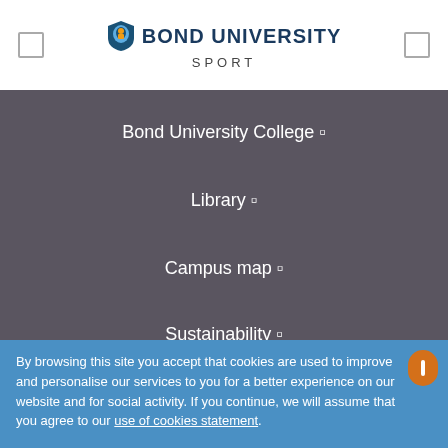BOND UNIVERSITY SPORT
Bond University College
Library
Campus map
Sustainability
CONTACT US
By browsing this site you accept that cookies are used to improve and personalise our services to you for a better experience on our website and for social activity. If you continue, we will assume that you agree to our use of cookies statement.